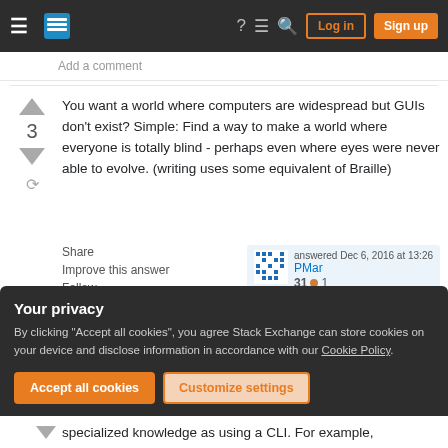Stack Exchange navigation bar with hamburger menu, logo, help, chat, search, Log in, Sign up buttons
Add a comment
You want a world where computers are widespread but GUIs don't exist? Simple: Find a way to make a world where everyone is totally blind - perhaps even where eyes were never able to evolve. (writing uses some equivalent of Braille)
Share
Improve this answer
Follow
answered Dec 6, 2016 at 13:26
PMar
31 ● 1
Your privacy
By clicking "Accept all cookies", you agree Stack Exchange can store cookies on your device and disclose information in accordance with our Cookie Policy.
Accept all cookies
Customize settings
specialized knowledge as using a CLI. For example,